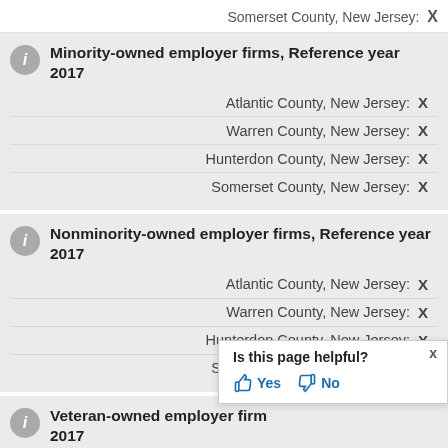Somerset County, New Jersey:  X
Minority-owned employer firms, Reference year 2017
Atlantic County, New Jersey:  X
Warren County, New Jersey:  X
Hunterdon County, New Jersey:  X
Somerset County, New Jersey:  X
Nonminority-owned employer firms, Reference year 2017
Atlantic County, New Jersey:  X
Warren County, New Jersey:  X
Hunterdon County, New Jersey:  X
Somerset County, New Jersey:  X
Veteran-owned employer firms, Reference year 2017